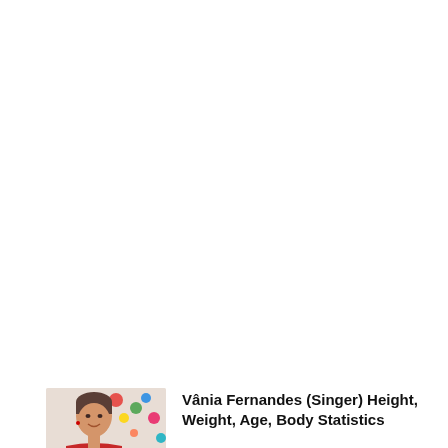RELATED ARTICLES
[Figure (photo): Thumbnail photo of Vânia Fernandes, a woman with short hair wearing a red top, with colorful dots in the background]
Vânia Fernandes (Singer) Height, Weight, Age, Body Statistics